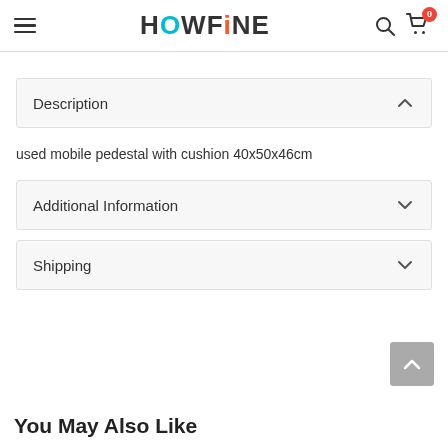HOWFiNE — navigation header with hamburger menu, logo, search and cart icons
Description
used mobile pedestal with cushion 40x50x46cm
Additional Information
Shipping
You May Also Like